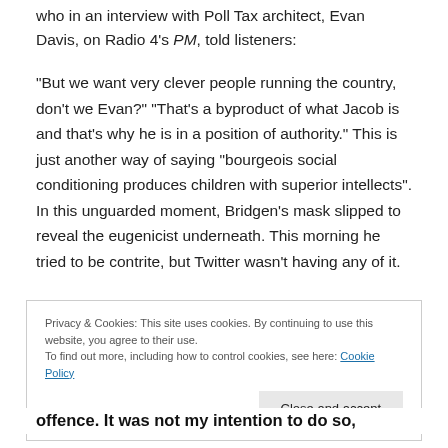who in an interview with Poll Tax architect, Evan Davis, on Radio 4's PM, told listeners:
“But we want very clever people running the country, don’t we Evan?” “That’s a byproduct of what Jacob is and that’s why he is in a position of authority.” This is just another way of saying “bourgeois social conditioning produces children with superior intellects”. In this unguarded moment, Bridgen’s mask slipped to reveal the eugenicist underneath. This morning he tried to be contrite, but Twitter wasn’t having any of it.
Privacy & Cookies: This site uses cookies. By continuing to use this website, you agree to their use.
To find out more, including how to control cookies, see here: Cookie Policy
offence. It was not my intention to do so,